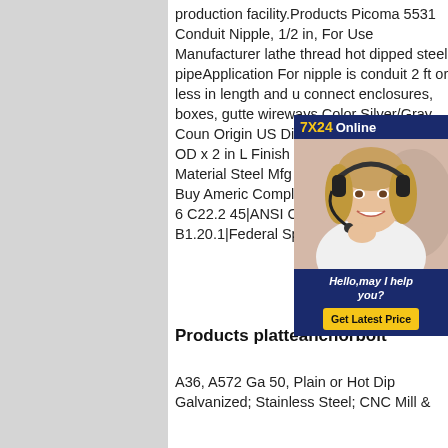production facility.Products Picoma 5531 Conduit Nipple, 1/2 in, For Use Manufacturer lathe thread hot dipped steel pipeApplication For nipple is conduit 2 ft or less in length and u connect enclosures, boxes, gutte wireways Color Silver/Gray Coun Origin US Dimensions 0.632 in ID in OD x 2 in L Finish Hot Dipped Galvanized Material Steel Mfg Standards/Approvals Buy Americ Compliant|RoHS Compliant|UL 6 C22.2 45|ANSI C 80.1|ASME B1.20.1|Federal Specification
[Figure (photo): 7X24 Online customer service advertisement with photo of woman wearing headset, text 'Hello, may I help you?' and 'Get Latest Price' button]
Products platteanchorbolt
A36, A572 Ga 50, Plain or Hot Dip Galvanized; Stainless Steel; CNC Mill &